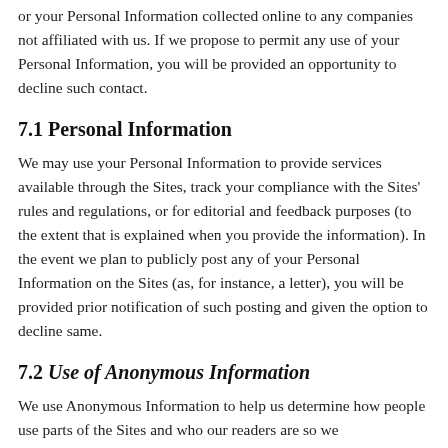or your Personal Information collected online to any companies not affiliated with us. If we propose to permit any use of your Personal Information, you will be provided an opportunity to decline such contact.
7.1 Personal Information
We may use your Personal Information to provide services available through the Sites, track your compliance with the Sites' rules and regulations, or for editorial and feedback purposes (to the extent that is explained when you provide the information). In the event we plan to publicly post any of your Personal Information on the Sites (as, for instance, a letter), you will be provided prior notification of such posting and given the option to decline same.
7.2 Use of Anonymous Information
We use Anonymous Information to help us determine how people use parts of the Sites and who our readers are so we